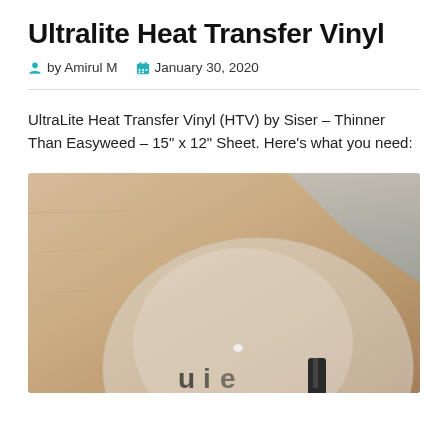Ultralite Heat Transfer Vinyl
by Amirul M   January 30, 2020
UltraLite Heat Transfer Vinyl (HTV) by Siser – Thinner Than Easyweed – 15" x 12" Sheet. Here's what you need:
[Figure (photo): Close-up photo of a heat transfer vinyl product being applied to fabric, showing partial text/design on a light-colored surface.]